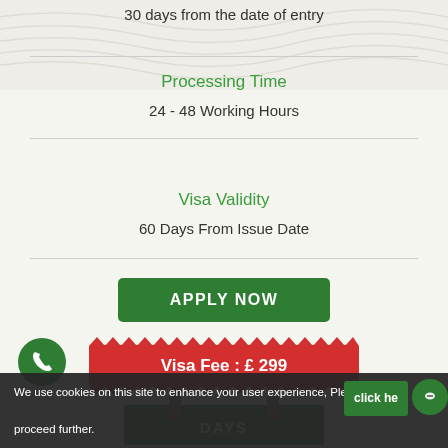30 days from the date of entry
Processing Time
24 - 48 Working Hours
Visa Validity
60 Days From Issue Date
APPLY NOW
Visa Fee : £ 299
DAYS
We use cookies on this site to enhance your user experience, Please proceed further.
click here